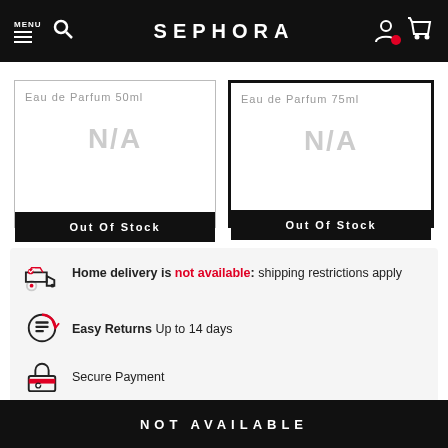SEPHORA
Eau de Parfum 50ml — N/A — Out Of Stock
Eau de Parfum 75ml — N/A — Out Of Stock
Home delivery is not available: shipping restrictions apply
Easy Returns Up to 14 days
Secure Payment
NOT AVAILABLE